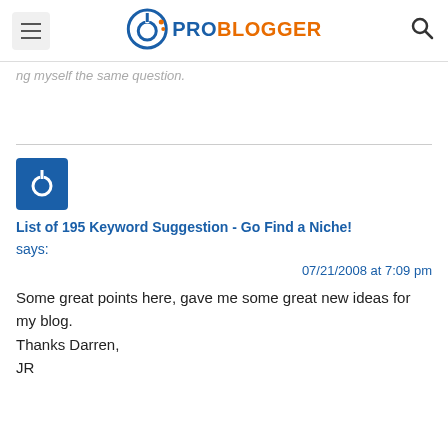ProBlogger
ng myself the same question.
List of 195 Keyword Suggestion - Go Find a Niche! says:
07/21/2008 at 7:09 pm

Some great points here, gave me some great new ideas for my blog.
Thanks Darren,
JR